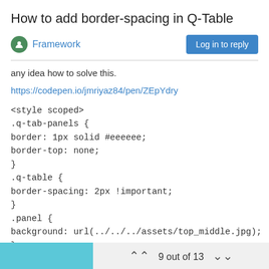How to add border-spacing in Q-Table
Framework
any idea how to solve this.
https://codepen.io/jmriyaz84/pen/ZEpYdry
<style scoped>
.q-tab-panels {
border: 1px solid #eeeeee;
border-top: none;
}
.q-table {
border-spacing: 2px !important;
}
.panel {
background: url(../../../assets/top_middle.jpg);
}
tbody tr:nth-child(2n-1) {
background: #b2d9f3;
9 out of 13